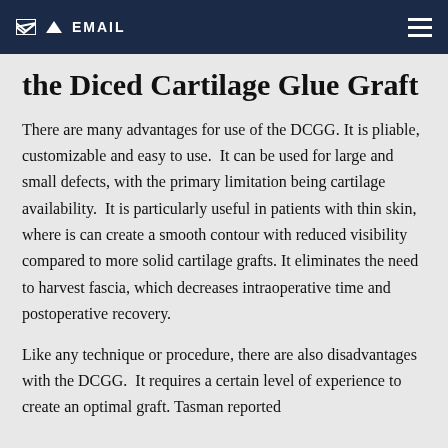EMAIL
the Diced Cartilage Glue Graft
There are many advantages for use of the DCGG. It is pliable, customizable and easy to use.  It can be used for large and small defects, with the primary limitation being cartilage availability.  It is particularly useful in patients with thin skin, where is can create a smooth contour with reduced visibility compared to more solid cartilage grafts. It eliminates the need to harvest fascia, which decreases intraoperative time and postoperative recovery.
Like any technique or procedure, there are also disadvantages with the DCGG.  It requires a certain level of experience to create an optimal graft. Tasman reported